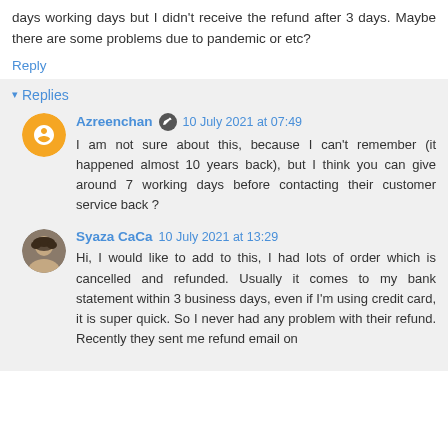days working days but I didn't receive the refund after 3 days. Maybe there are some problems due to pandemic or etc?
Reply
Replies
Azreenchan 10 July 2021 at 07:49
I am not sure about this, because I can't remember (it happened almost 10 years back), but I think you can give around 7 working days before contacting their customer service back ?
Syaza CaCa 10 July 2021 at 13:29
Hi, I would like to add to this, I had lots of order which is cancelled and refunded. Usually it comes to my bank statement within 3 business days, even if I'm using credit card, it is super quick. So I never had any problem with their refund. Recently they sent me refund email on